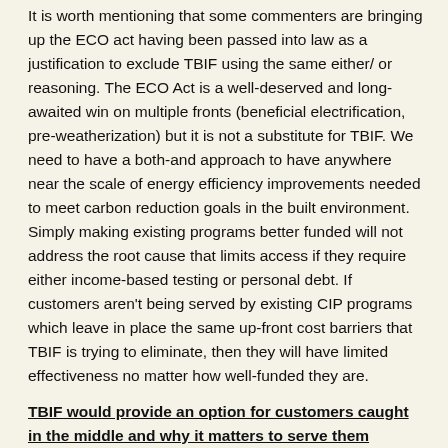It is worth mentioning that some commenters are bringing up the ECO act having been passed into law as a justification to exclude TBIF using the same either/ or reasoning. The ECO Act is a well-deserved and long-awaited win on multiple fronts (beneficial electrification, pre-weatherization) but it is not a substitute for TBIF. We need to have a both-and approach to have anywhere near the scale of energy efficiency improvements needed to meet carbon reduction goals in the built environment. Simply making existing programs better funded will not address the root cause that limits access if they require either income-based testing or personal debt. If customers aren't being served by existing CIP programs which leave in place the same up-front cost barriers that TBIF is trying to eliminate, then they will have limited effectiveness no matter how well-funded they are.
TBIF would provide an option for customers caught in the middle and why it matters to serve them